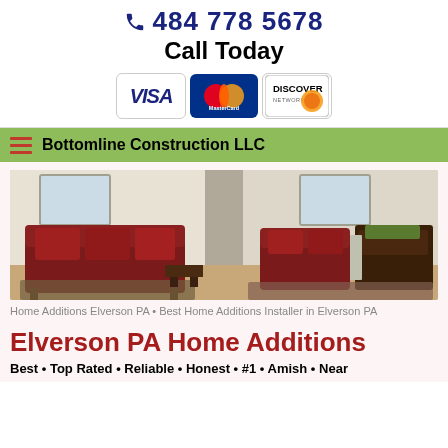484 778 5678
Call Today
[Figure (logo): VISA, MasterCard, and Discover payment card logos]
Bottomline Construction LLC
[Figure (photo): Interior room photo showing attic living space with red sofa and dark wood furniture, skylights visible]
Home Additions Elverson PA • Best Home Additions Installer in Elverson PA
Elverson PA Home Additions
Best • Top Rated • Reliable • Honest • #1 • Amish • Near